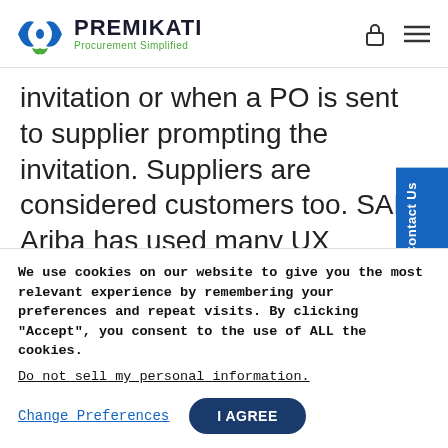PREMIKATI Procurement Simplified
invitation or when a PO is sent to supplier prompting the invitation. Suppliers are considered customers too. SAP Ariba has used many UX principles to dramatically ease supplier interaction with the network.
We use cookies on our website to give you the most relevant experience by remembering your preferences and repeat visits. By clicking "Accept", you consent to the use of ALL the cookies.
Do not sell my personal information.
Change Preferences
I AGREE